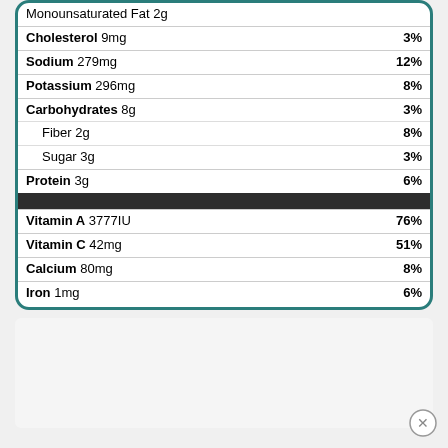| Nutrient | % Daily Value |
| --- | --- |
| Monounsaturated Fat 2g |  |
| Cholesterol 9mg | 3% |
| Sodium 279mg | 12% |
| Potassium 296mg | 8% |
| Carbohydrates 8g | 3% |
| Fiber 2g | 8% |
| Sugar 3g | 3% |
| Protein 3g | 6% |
| Vitamin A 3777IU | 76% |
| Vitamin C 42mg | 51% |
| Calcium 80mg | 8% |
| Iron 1mg | 6% |
* Percent Daily Values are based on a 2000 calorie diet.